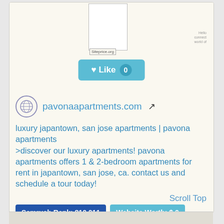[Figure (screenshot): Website thumbnail placeholder (white box) with Siteprice.org label below it, and a smaller thumbnail on the right side]
♥ Like 0
pavonaapartments.com ↗
luxury japantown, san jose apartments | pavona apartments
>discover our luxury apartments! pavona apartments offers 1 & 2-bedroom apartments for rent in japantown, san jose, ca. contact us and schedule a tour today!
Scroll Top
Semrush Rank: 810,011
Website Worth: $ 0
Is it similar?
👍 Yes 0
👎 No 0